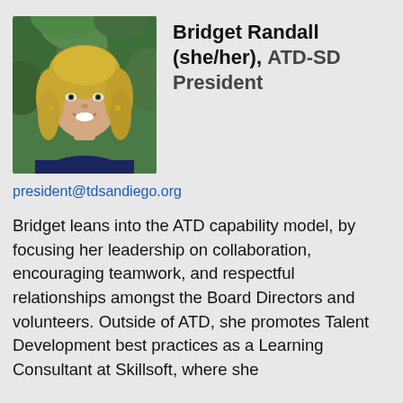[Figure (photo): Headshot photo of Bridget Randall, a woman with blonde hair, smiling, wearing a dark navy top, with green foliage in background.]
Bridget Randall (she/her), ATD-SD President
president@tdsandiego.org
Bridget leans into the ATD capability model, by focusing her leadership on collaboration, encouraging teamwork, and respectful relationships amongst the Board Directors and volunteers. Outside of ATD, she promotes Talent Development best practices as a Learning Consultant at Skillsoft, where she